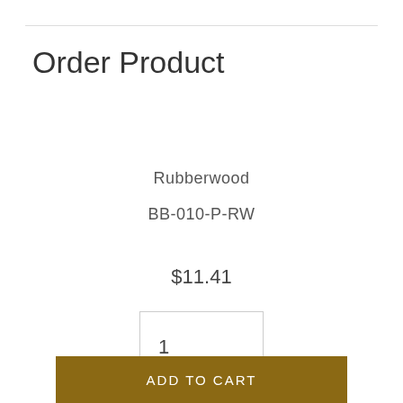Order Product
Rubberwood
BB-010-P-RW
$11.41
1
ADD TO CART